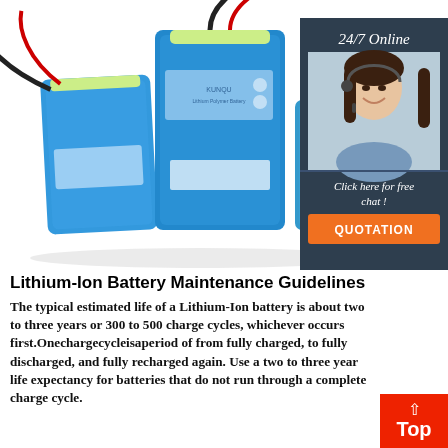[Figure (photo): Photo of three blue lithium-ion battery packs with wires/connectors, with a customer service sidebar on the right showing a woman with a headset, '24/7 Online' text, 'Click here for free chat!' text, and an orange 'QUOTATION' button on a dark background.]
Lithium-Ion Battery Maintenance Guidelines
The typical estimated life of a Lithium-Ion battery is about two to three years or 300 to 500 charge cycles, whichever occurs first.Onechargecycleisaperiod of from fully charged, to fully discharged, and fully recharged again. Use a two to three year life expectancy for batteries that do not run through a complete charge cycle.